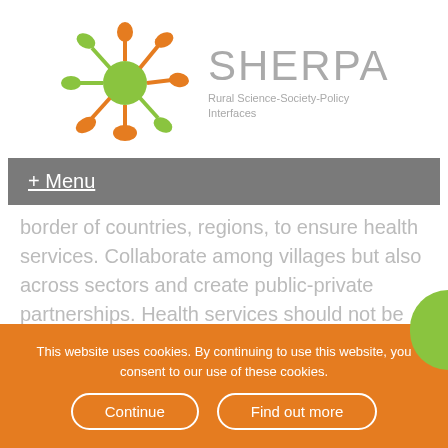[Figure (logo): SHERPA project logo: a network/molecule graphic in orange and green colors, with node and edge shapes arranged in a spherical form. Text to the right reads 'SHERPA' in large light gray letters, with subtitle 'Rural Science-Society-Policy Interfaces'.]
+ Menu
border of countries, regions, to ensure health services. Collaborate among villages but also across sectors and create public-private partnerships. Health services should not be solely a
This website uses cookies. By continuing to use this website, you consent to our use of these cookies.
Continue
Find out more